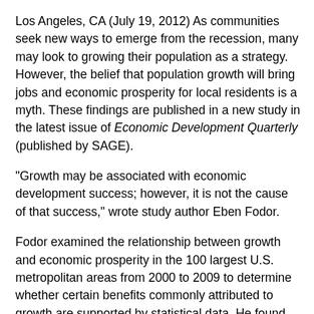Los Angeles, CA (July 19, 2012) As communities seek new ways to emerge from the recession, many may look to growing their population as a strategy. However, the belief that population growth will bring jobs and economic prosperity for local residents is a myth. These findings are published in a new study in the latest issue of Economic Development Quarterly (published by SAGE).
"Growth may be associated with economic development success; however, it is not the cause of that success," wrote study author Eben Fodor.
Fodor examined the relationship between growth and economic prosperity in the 100 largest U.S. metropolitan areas from 2000 to 2009 to determine whether certain benefits commonly attributed to growth are supported by statistical data. He found that the slowest-growing metro areas had lower unemployment rates, lower poverty rates, higher income levels, and were less impacted by the recession than the fastest-growing areas. In fact, in 2009,